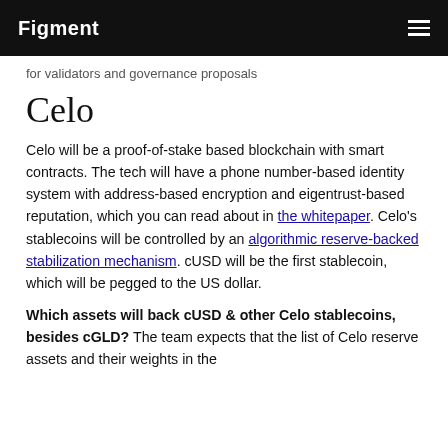Figment
for validators and governance proposals
Celo
Celo will be a proof-of-stake based blockchain with smart contracts. The tech will have a phone number-based identity system with address-based encryption and eigentrust-based reputation, which you can read about in the whitepaper. Celo's stablecoins will be controlled by an algorithmic reserve-backed stabilization mechanism. cUSD will be the first stablecoin, which will be pegged to the US dollar.
Which assets will back cUSD & other Celo stablecoins, besides cGLD? The team expects that the list of Celo reserve assets and their weights in the